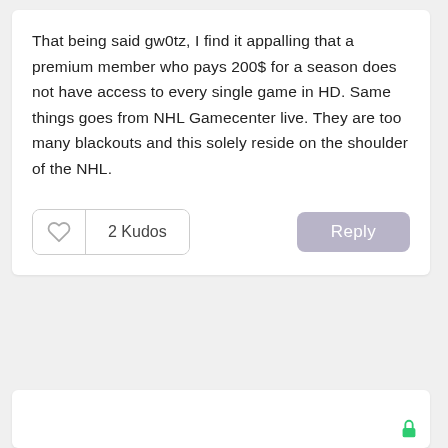That being said gw0tz, I find it appalling that a premium member who pays 200$ for a season does not have access to every single game in HD. Same things goes from NHL Gamecenter live. They are too many blackouts and this solely reside on the shoulder of the NHL.
[Figure (other): Kudos button with heart icon showing '2 Kudos' and a Reply button]